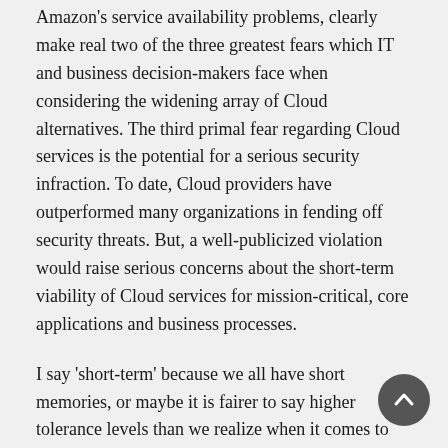Amazon's service availability problems, clearly make real two of the three greatest fears which IT and business decision-makers face when considering the widening array of Cloud alternatives. The third primal fear regarding Cloud services is the potential for a serious security infraction. To date, Cloud providers have outperformed many organizations in fending off security threats. But, a well-publicized violation would raise serious concerns about the short-term viability of Cloud services for mission-critical, core applications and business processes.
I say 'short-term' because we all have short memories, or maybe it is fairer to say higher tolerance levels than we realize when it comes to our fears regarding web-based services. For instance, Salesforce.com has only seen greater growth since it suffered a series of serious service disruptions in 2006, and has not seen any